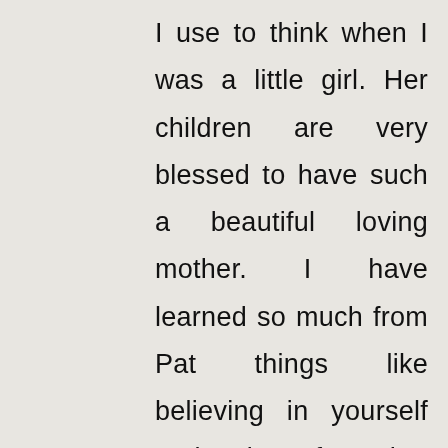I use to think when I was a little girl. Her children are very blessed to have such a beautiful loving mother. I have learned so much from Pat things like believing in yourself and going after what makes you happy. She has showed me what it's like to feel loved appreciated and accepted. She often tells me how good I